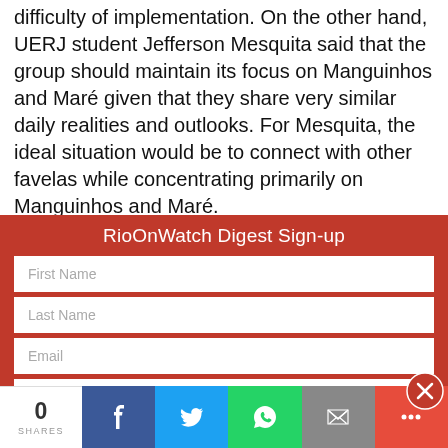difficulty of implementation. On the other hand, UERJ student Jefferson Mesquita said that the group should maintain its focus on Manguinhos and Maré given that they share very similar daily realities and outlooks. For Mesquita, the ideal situation would be to connect with other favelas while concentrating primarily on Manguinhos and Maré.
RioOnWatch Digest Sign-up
First Name
Last Name
Email
Organization
Country
0 SHARES